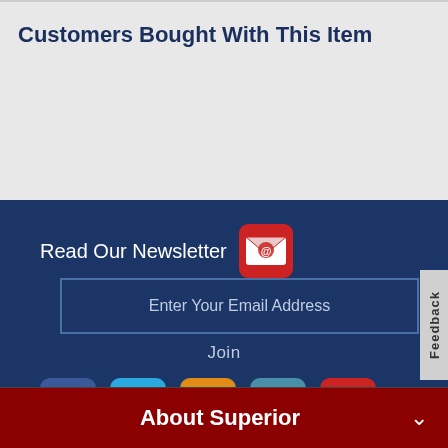Customers Bought With This Item
Read Our Newsletter
Enter Your Email Address
Join
[Figure (infographic): Social media icons: Facebook, Twitter, Instagram, LinkedIn, YouTube]
About Superior